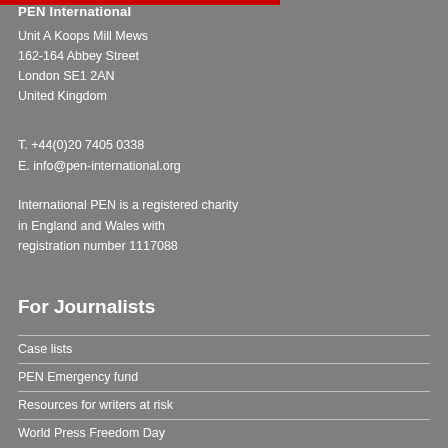PEN International
Unit A Koops Mill Mews
162-164 Abbey Street
London SE1 2AN
United Kingdom
T. +44(0)20 7405 0338
E. info@pen-international.org
International PEN is a registered charity in England and Wales with registration number 1117088
For Journalists
Case lists
PEN Emergency fund
Resources for writers at risk
World Press Freedom Day